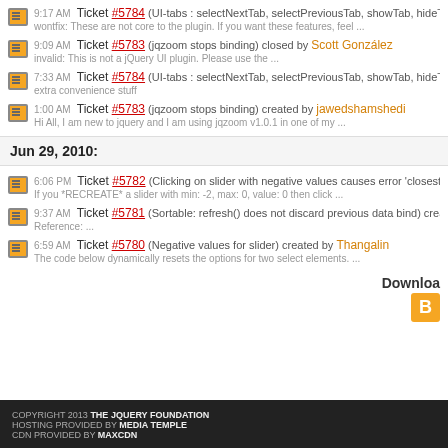9:17 AM Ticket #5784 (UI-tabs : selectNextTab, selectPreviousTab, showTab, hideTab) clos... wontfix: These are not core to the plugin. If you want these features, feel ...
9:09 AM Ticket #5783 (jqzoom stops binding) closed by Scott González invalid: This is not a jQuery UI plugin. Please use the ...
7:33 AM Ticket #5784 (UI-tabs : selectNextTab, selectPreviousTab, showTab, hideTab) crea... extra convenience stuff
1:00 AM Ticket #5783 (jqzoom stops binding) created by jawedshamshedi Hi All, I am new to jquery and I am using jqzoom v1.0.1 in one of my ...
Jun 29, 2010:
6:06 PM Ticket #5782 (Clicking on slider with negative values causes error 'closestHandle i... If you *RECREATE* a slider with min: -2, max: 0, value: 0 then click ...
9:37 AM Ticket #5781 (Sortable: refresh() does not discard previous data bind) created by b... Reference: ...
6:59 AM Ticket #5780 (Negative values for slider) created by Thangalin The code below dynamically resets the options for two select elements. ...
Downloa...
COPYRIGHT 2013 THE JQUERY FOUNDATION HOSTING PROVIDED BY MEDIA TEMPLE CDN PROVIDED BY MAXCDN